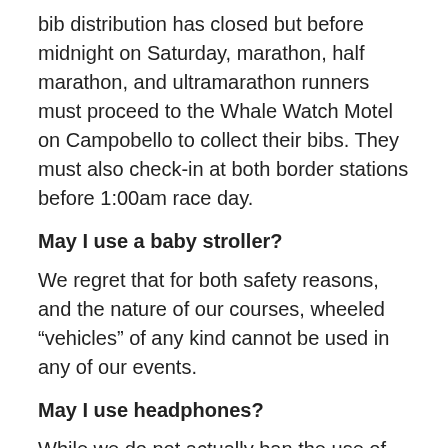bib distribution has closed but before midnight on Saturday, marathon, half marathon, and ultramarathon runners must proceed to the Whale Watch Motel on Campobello to collect their bibs. They must also check-in at both border stations before 1:00am race day.
May I use a baby stroller?
We regret that for both safety reasons, and the nature of our courses, wheeled “vehicles” of any kind cannot be used in any of our events.
May I use headphones?
While we do not actually ban the use of headphones, we strongly discourage it for safety reasons.  We also believe you are missing out on some of the unique features of our event if you can’t hear the wind and waves, and frequently,